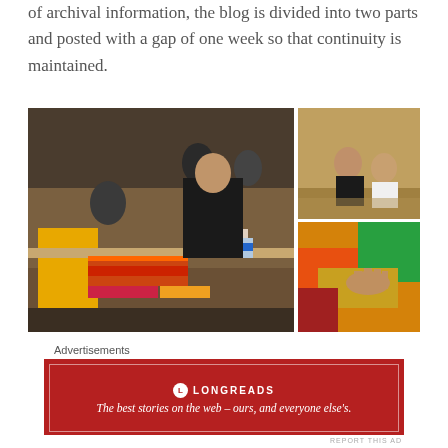of archival information, the blog is divided into two parts and posted with a gap of one week so that continuity is maintained.
[Figure (photo): Photo collage: main image shows people at a table working on paintings with art supplies; top-right shows two people posing in an ornate interior; bottom-right shows a close-up of a hand working on colorful artwork.]
Advertisements
[Figure (other): Advertisement banner for Longreads: red background with white text reading 'The best stories on the web – ours, and everyone else's.']
The language is simple, mostly using the first person conversational style, sprinkled with anecdotes, insights